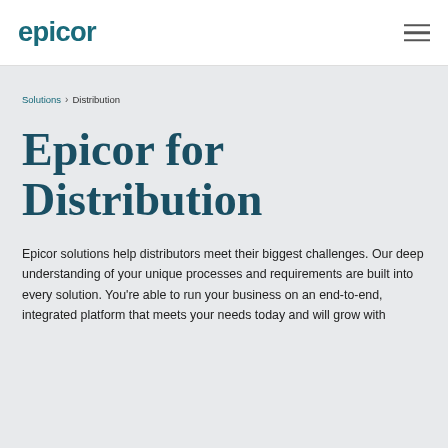[Figure (logo): Epicor logo in teal/dark cyan color]
Epicor logo and navigation hamburger menu
Solutions > Distribution
Epicor for Distribution
Epicor solutions help distributors meet their biggest challenges. Our deep understanding of your unique processes and requirements are built into every solution. You're able to run your business on an end-to-end, integrated platform that meets your needs today and will grow with